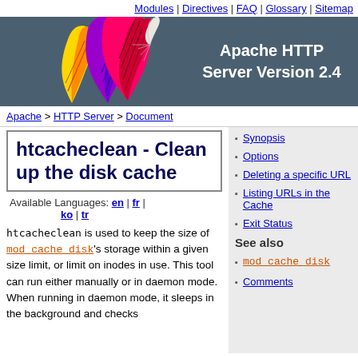Modules | Directives | FAQ | Glossary | Sitemap
[Figure (illustration): Apache HTTP Server logo with colorful feathers on dark blue-grey background with text 'Apache HTTP Server Version 2.4']
Apache > HTTP Server > Document
htcacheclean - Clean up the disk cache
Available Languages: en | fr | ko | tr
Synopsis
Options
Deleting a specific URL
Listing URLs in the Cache
Exit Status
See also
mod_cache_disk
Comments
htcacheclean is used to keep the size of mod_cache_disk's storage within a given size limit, or limit on inodes in use. This tool can run either manually or in daemon mode. When running in daemon mode, it sleeps in the background and checks